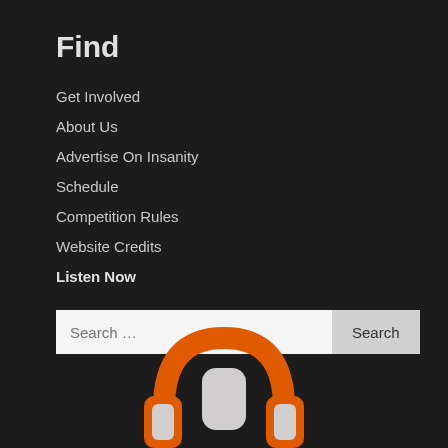Find
Get Involved
About Us
Advertise On Insanity
Schedule
Competition Rules
Website Credits
Listen Now
Search ...
[Figure (illustration): Orange and grey headphones icon at the bottom center of the page]